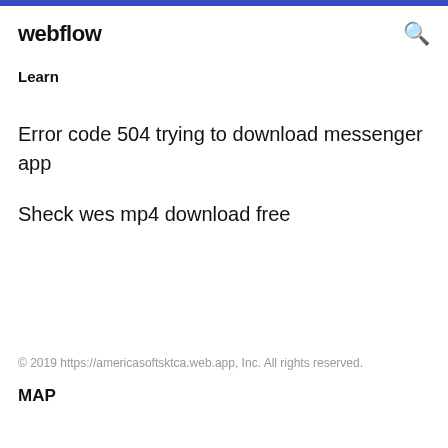webflow
Learn
Error code 504 trying to download messenger app
Sheck wes mp4 download free
© 2019 https://americasoftsktca.web.app, Inc. All rights reserved.
MAP